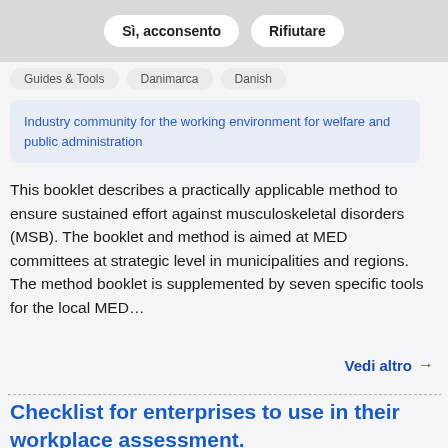skeletal problems
Sì, acconsento   Rifiutare
Guides & Tools
Danimarca
Danish
Industry community for the working environment for welfare and public administration
This booklet describes a practically applicable method to ensure sustained effort against musculoskeletal disorders (MSB). The booklet and method is aimed at MED committees at strategic level in municipalities and regions. The method booklet is supplemented by seven specific tools for the local MED…
Vedi altro →
Checklist for enterprises to use in their workplace assessment.